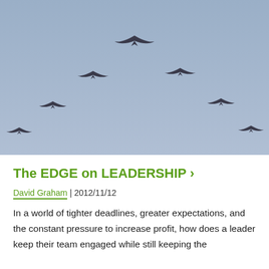[Figure (photo): Birds flying in V-formation against a blue-grey sky]
The EDGE on LEADERSHIP ›
David Graham | 2012/11/12
In a world of tighter deadlines, greater expectations, and the constant pressure to increase profit, how does a leader keep their team engaged while still keeping the